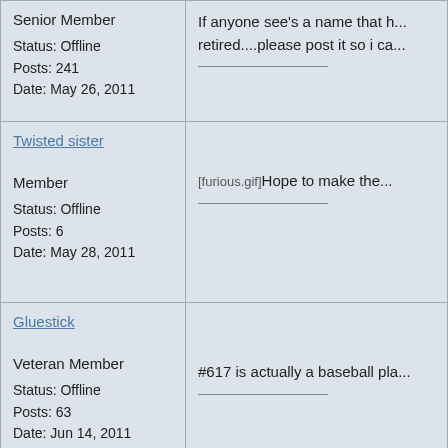| User Info | Post Content |
| --- | --- |
| Senior Member
Status: Offline
Posts: 241
Date: May 26, 2011 | If anyone see's a name that h...retired....please post it so i ca... |
| Twisted sister
Member
Status: Offline
Posts: 6
Date: May 28, 2011 | [furious.gif]Hope to make the... |
| Gluestick
Veteran Member
Status: Offline
Posts: 63
Date: Jun 14, 2011 | #617 is actually a baseball pla... |
| 20yrSentence |  |